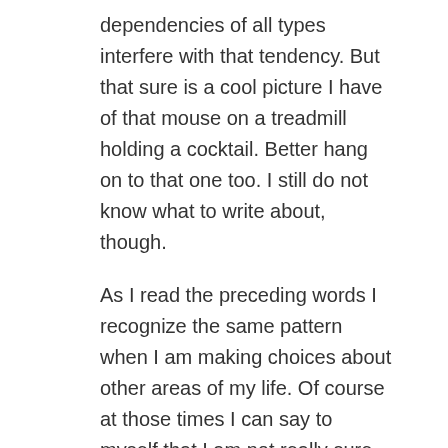dependencies of all types interfere with that tendency. But that sure is a cool picture I have of that mouse on a treadmill holding a cocktail. Better hang on to that one too. I still do not know what to write about, though.
As I read the preceding words I recognize the same pattern when I am making choices about other areas of my life. Of course at those times I can say to myself that I am not really sure what the will of God is for me here. So I can wait until I am sure. I wait to see if there is something that just feels more “right” Or maybe I will wait so long that the decision is already made for me. And I then reason that God’s will was done.